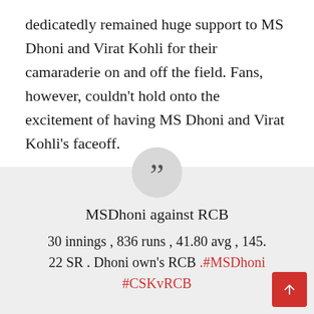dedicatedly remained huge support to MS Dhoni and Virat Kohli for their camaraderie on and off the field. Fans, however, couldn't hold onto the excitement of having MS Dhoni and Virat Kohli's faceoff.
MSDhoni against RCB
30 innings , 836 runs , 41.80 avg , 145.22 SR . Dhoni own's RCB .#MSDhoni #CSKvRCB